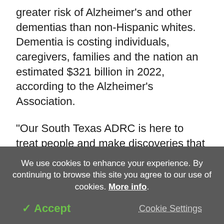greater risk of Alzheimer's and other dementias than non-Hispanic whites. Dementia is costing individuals, caregivers, families and the nation an estimated $321 billion in 2022, according to the Alzheimer's Association.
"Our South Texas ADRC is here to treat people and make discoveries that lead to better treatments," Dr. Seshadri said.
The needles in the haystack are being located, and this is having results.
We use cookies to enhance your experience. By continuing to browse this site you agree to our use of cookies. More info.